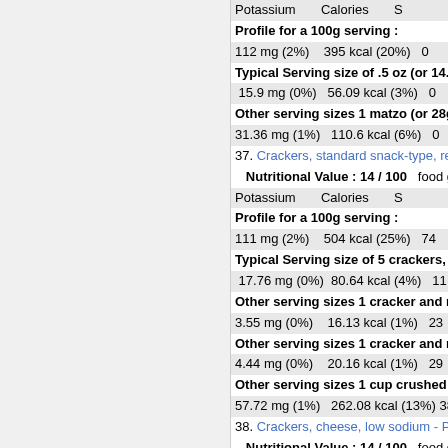Potassium   Calories   So
Profile for a 100g serving :
112 mg (2%)   395 kcal (20%)   0
Typical Serving size of .5 oz (or 14.2g
15.9 mg (0%)   56.09 kcal (3%)   0
Other serving sizes 1 matzo (or 28g):
31.36 mg (1%)   110.6 kcal (6%)   0
37. Crackers, standard snack-type, regu
Nutritional Value : 14 / 100   food gro
Potassium   Calories   So
Profile for a 100g serving :
111 mg (2%)   504 kcal (25%)   74
Typical Serving size of 5 crackers, re
17.76 mg (0%)   80.64 kcal (4%)   11
Other serving sizes 1 cracker and rou
3.55 mg (0%)   16.13 kcal (1%)   23
Other serving sizes 1 cracker and rec
4.44 mg (0%)   20.16 kcal (1%)   29
Other serving sizes 1 cup crushed (o
57.72 mg (1%)   262.08 kcal (13%)   38
38. Crackers, cheese, low sodium - Pota
Nutritional Value : 14 / 100   food gro
Potassium   Calories   So
Profile for a 100g serving :
106 mg (2%)   503 kcal (25%)   45